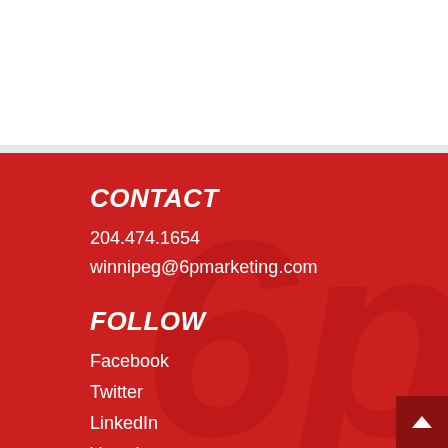CONTACT
204.474.1654
winnipeg@6pmarketing.com
FOLLOW
Facebook
Twitter
LinkedIn
Youtube
Instagram